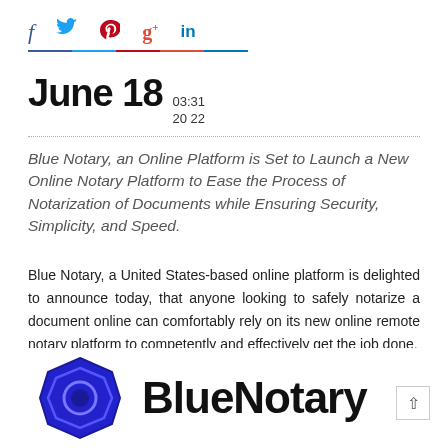[Figure (infographic): Social media share icons: Facebook (f), Twitter bird, Pinterest, Google+, LinkedIn with colored underlines]
June 18  03:31 2022
Blue Notary, an Online Platform is Set to Launch a New Online Notary Platform to Ease the Process of Notarization of Documents while Ensuring Security, Simplicity, and Speed.
Blue Notary, a United States-based online platform is delighted to announce today, that anyone looking to safely notarize a document online can comfortably rely on its new online remote notary platform to competently and effectively get the job done.
[Figure (logo): Blue Notary logo: dark blue hexagonal seal icon with inner circle on the left, text 'BlueNotary' in bold black on the right]